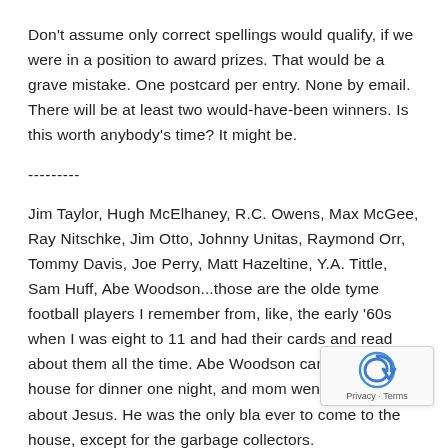Don't assume only correct spellings would qualify, if we were in a position to award prizes. That would be a grave mistake. One postcard per entry. None by email. There will be at least two would-have-been winners. Is this worth anybody's time? It might be.
---------
Jim Taylor, Hugh McElhaney, R.C. Owens, Max McGee, Ray Nitschke, Jim Otto, Johnny Unitas, Raymond Orr, Tommy Davis, Joe Perry, Matt Hazeltine, Y.A. Tittle, Sam Huff, Abe Woodson...those are the olde tyme football players I remember from, like, the early '60s when I was eight to 11 and had their cards and read about them all the time. Abe Woodson came to the house for dinner one night, and mom went on and on about Jesus. He was the only bla ever to come to the house, except for the garbage collectors.